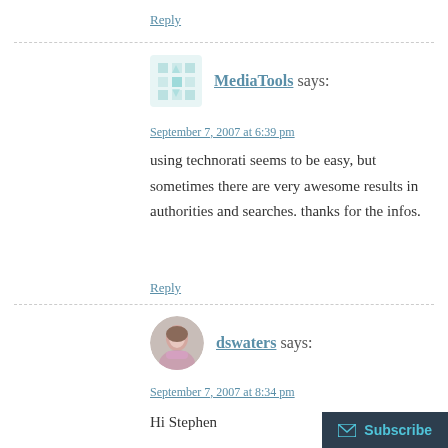Reply
MediaTools says:
September 7, 2007 at 6:39 pm
using technorati seems to be easy, but sometimes there are very awesome results in authorities and searches. thanks for the infos.
Reply
dswaters says:
September 7, 2007 at 8:34 pm
Hi Stephen